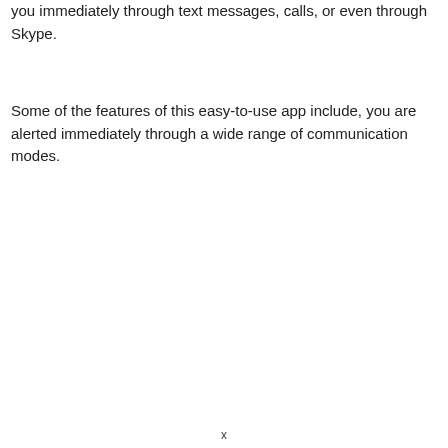you immediately through text messages, calls, or even through Skype.
Some of the features of this easy-to-use app include, you are alerted immediately through a wide range of communication modes.
x